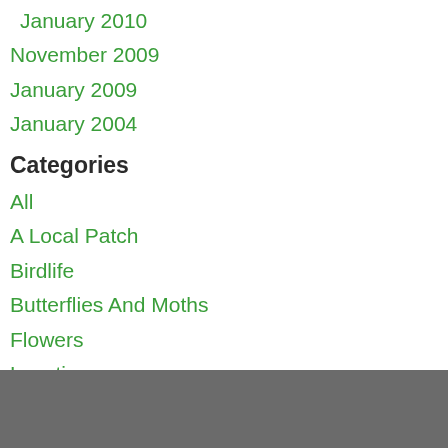January 2010
November 2009
January 2009
January 2004
Categories
All
A Local Patch
Birdlife
Butterflies And Moths
Flowers
Locations
Views
Walks
Weather
WIldlife
RSS Feed